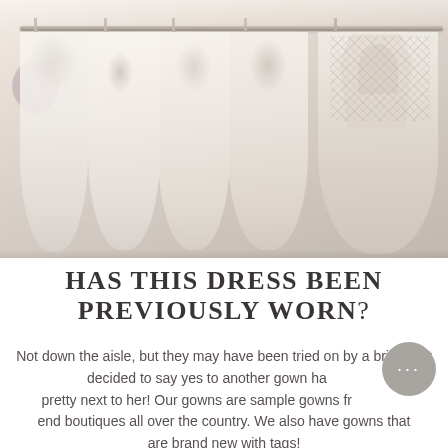[Figure (photo): Wedding gowns hanging on a rack/rail in a bridal boutique. Multiple white and ivory dresses with lace and beaded embellishments visible on wooden hangers. A heavily embellished open-back gown is prominently featured on the right.]
HAS THIS DRESS BEEN PREVIOUSLY WORN?
Not down the aisle, but they may have been tried on by a bride that decided to say yes to another gown hanging pretty next to her! Our gowns are sample gowns from high-end boutiques all over the country. We also have gowns that are brand new with tags!